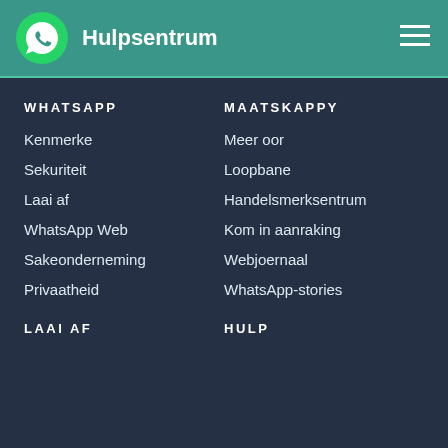Hulpsentrum
WHATSAPP
Kenmerke
Sekuriteit
Laai af
WhatsApp Web
Sakeonderneming
Privaatheid
MAATSKAPPY
Meer oor
Loopbane
Handelsmerksentrum
Kom in aanraking
Webjoernaal
WhatsApp-stories
LAAI AF
HULP